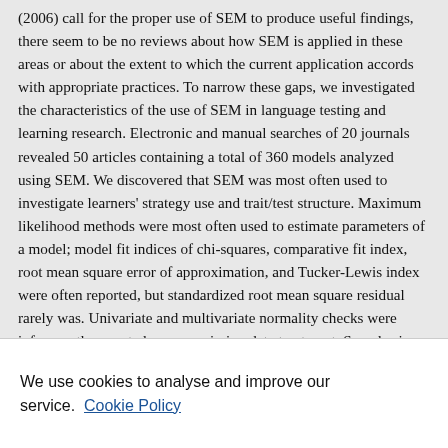(2006) call for the proper use of SEM to produce useful findings, there seem to be no reviews about how SEM is applied in these areas or about the extent to which the current application accords with appropriate practices. To narrow these gaps, we investigated the characteristics of the use of SEM in language testing and learning research. Electronic and manual searches of 20 journals revealed 50 articles containing a total of 360 models analyzed using SEM. We discovered that SEM was most often used to investigate learners' strategy use and trait/test structure. Maximum likelihood methods were most often used to estimate parameters of a model; model fit indices of chi-squares, comparative fit index, root mean square error of approximation, and Tucker-Lewis index were often reported, but standardized root mean square residual rarely was. Univariate and multivariate normality checks were infrequently reported, as was missing data treatment. Sample sizes, when judged according to Kline's (2005) and Raykov and Marcoulides's (2006) guidelines, were in most cases adequate, and LISREL was the most widely used program. Recommendations are provided...
We use cookies to analyse and improve our service. Cookie Policy